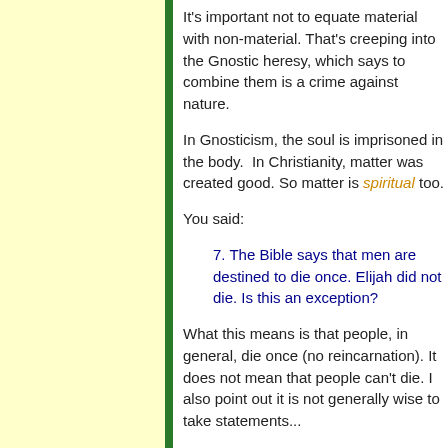It's important not to equate material with non-material. That's creeping into the Gnostic heresy, which says to combine them is a crime against nature.
In Gnosticism, the soul is imprisoned in the body. In Christianity, matter was created good. So matter is spiritual too.
You said:
7. The Bible says that men are destined to die once. Elijah did not die. Is this an exception?
What this means is that people, in general, die once (no reincarnation). It does not mean that people can't die. I also point out it is not generally wise to take statements...
For example, Lazarus, Tabitha, and several others died (and lived again) but these were exceptions. The general rule still holds but there are limited exceptions.
Hope this helps,
Eric
John replied: